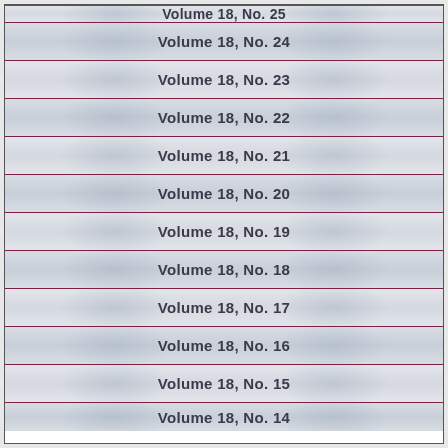Volume 18, No. 25
Volume 18, No. 24
Volume 18, No. 23
Volume 18, No. 22
Volume 18, No. 21
Volume 18, No. 20
Volume 18, No. 19
Volume 18, No. 18
Volume 18, No. 17
Volume 18, No. 16
Volume 18, No. 15
Volume 18, No. 14